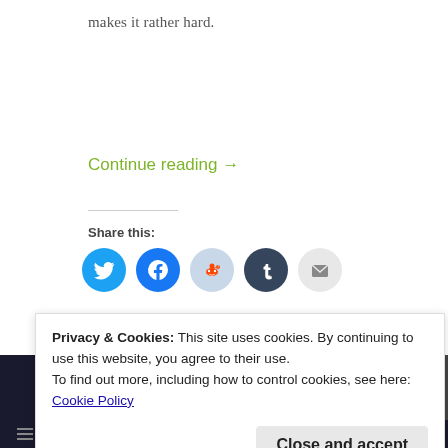makes it rather hard.
Continue reading →
Share this:
[Figure (infographic): Social sharing icons: Twitter (blue), Facebook (blue), Reddit (light blue), Tumblr (dark blue/navy), Email (grey)]
[Figure (infographic): Like/like bar with avatars]
Privacy & Cookies: This site uses cookies. By continuing to use this website, you agree to their use.
To find out more, including how to control cookies, see here: Cookie Policy
Close and accept
POSTED BY   POSTED ON   POSTED